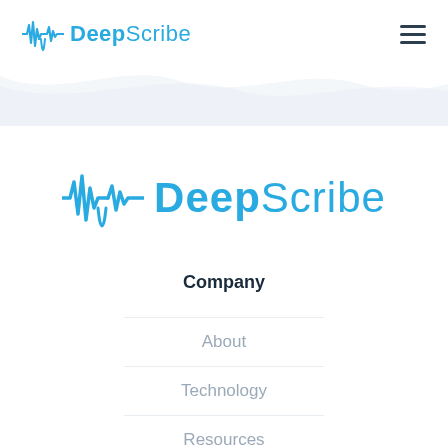[Figure (logo): DeepScribe logo in navigation bar with soundwave icon and blue text]
[Figure (logo): DeepScribe logo centered on page with larger soundwave icon and blue text]
Company
About
Technology
Resources